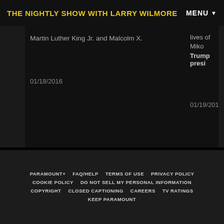THE NIGHTLY SHOW WITH LARRY WILMORE | MENU
Martin Luther King Jr. and Malcolm X.
01/18/2016
lives of Miko... Trump presi...
01/19/2016
PARAMOUNT+ | FAQ/HELP | TERMS OF USE | PRIVACY POLICY | COOKIE POLICY | DO NOT SELL MY PERSONAL INFORMATION | COPYRIGHT | CLOSED CAPTIONING | CAREERS | TV RATINGS | KEEP PARAMOUNT